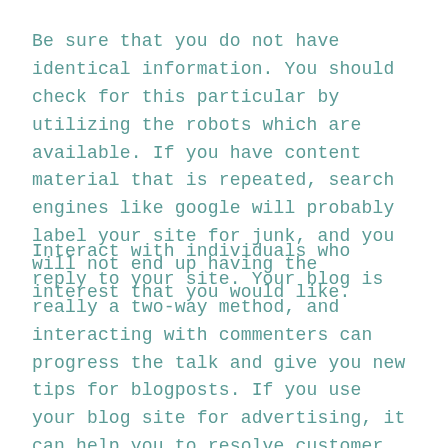Be sure that you do not have identical information. You should check for this particular by utilizing the robots which are available. If you have content material that is repeated, search engines like google will probably label your site for junk, and you will not end up having the interest that you would like.
Interact with individuals who reply to your site. Your blog is really a two-way method, and interacting with commenters can progress the talk and give you new tips for blogposts. If you use your blog site for advertising, it can help you to resolve customer complaints, sometimes more quickly than via conventional customer service